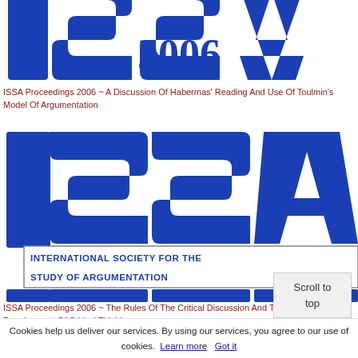[Figure (logo): ISSA logo top portion — large blue ISSA letters with '2006' text, cropped at top]
ISSA Proceedings 2006 ~ A Discussion Of Habermas' Reading And Use Of Toulmin's Model Of Argumentation
[Figure (logo): ISSA full logo — large blue ISSA letters with banner reading 'INTERNATIONAL SOCIETY FOR THE STUDY OF ARGUMENTATION']
ISSA Proceedings 2006 ~ The Rules Of The Critical Discussion And The Development Of Critical Thinking
[Figure (logo): ISSA logo bottom portion — '2006' text, cropped]
Cookies help us deliver our services. By using our services, you agree to our use of cookies. Learn more  Got it